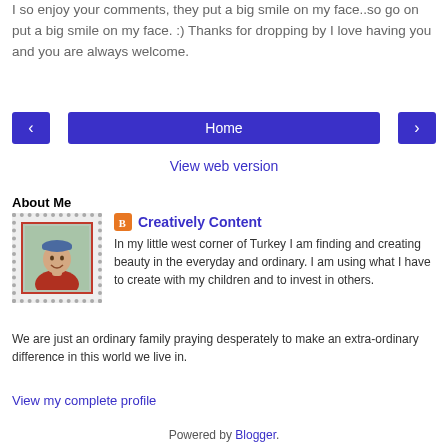I so enjoy your comments, they put a big smile on my face..so go on put a big smile on my face. :) Thanks for dropping by I love having you and you are always welcome.
[Figure (other): Navigation buttons: left arrow, Home button, right arrow]
View web version
About Me
[Figure (photo): Profile photo of a smiling woman with a blue cap, in a decorative dotted border frame]
Creatively Content
In my little west corner of Turkey I am finding and creating beauty in the everyday and ordinary. I am using what I have to create with my children and to invest in others. We are just an ordinary family praying desperately to make an extra-ordinary difference in this world we live in.
View my complete profile
Powered by Blogger.